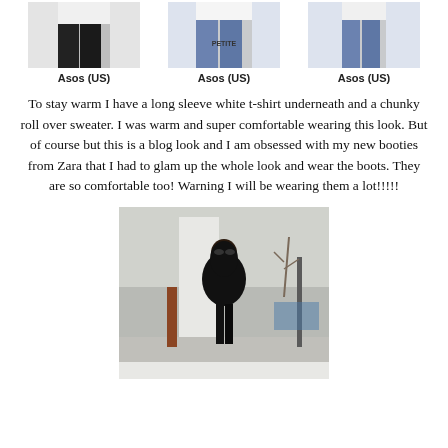[Figure (photo): Three cropped fashion photos showing clothing items from Asos (US), displayed in a row]
Asos (US)    Asos (US)    Asos (US)
To stay warm I have a long sleeve white t-shirt underneath and a chunky roll over sweater. I was warm and super comfortable wearing this look. But of course but this is a blog look and I am obsessed with my new booties from Zara that I had to glam up the whole look and wear the boots. They are so comfortable too! Warning I will be wearing them a lot!!!!!
[Figure (photo): A woman wearing a black outfit with sunglasses walking on a city street in winter, from a fashion blog]